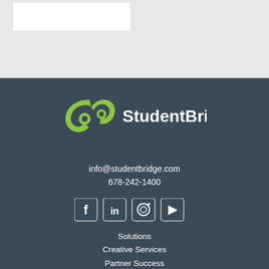[Figure (logo): StudentBridge logo with green swirl icon and white text]
info@studentbridge.com
678-242-1400
[Figure (infographic): Social media icons: Facebook, LinkedIn, Instagram, YouTube]
Solutions
Creative Services
Partner Success
Resources
About Us
Contact Us
Login